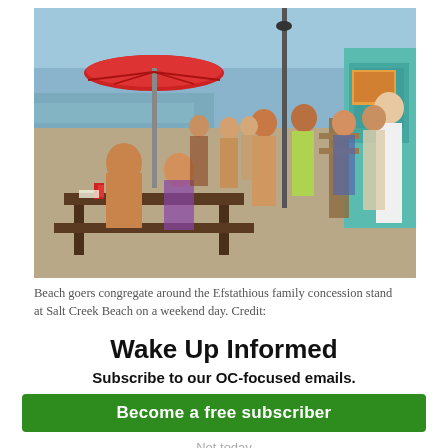[Figure (photo): Beach scene showing people congregating at a concession stand at Salt Creek Beach. A red umbrella is visible on the left, people in swimwear are gathered around picnic tables and standing in groups, with the ocean and blue sky in the background and a teal-colored building on the right.]
Beach goers congregate around the Efstathious family concession stand at Salt Creek Beach on a weekend day. Credit:
Wake Up Informed
Subscribe to our OC-focused emails.
Become a free subscriber
Not today